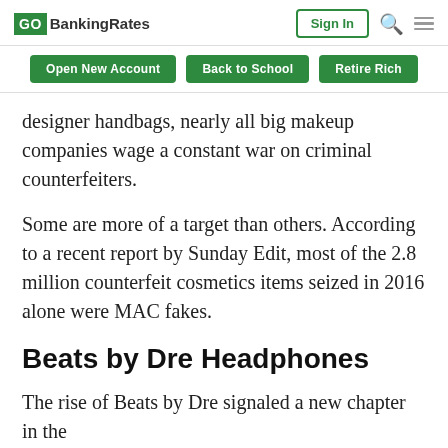GO BankingRates | Sign In
Open New Account | Back to School | Retire Rich
designer handbags, nearly all big makeup companies wage a constant war on criminal counterfeiters.
Some are more of a target than others. According to a recent report by Sunday Edit, most of the 2.8 million counterfeit cosmetics items seized in 2016 alone were MAC fakes.
Beats by Dre Headphones
The rise of Beats by Dre signaled a new chapter in the